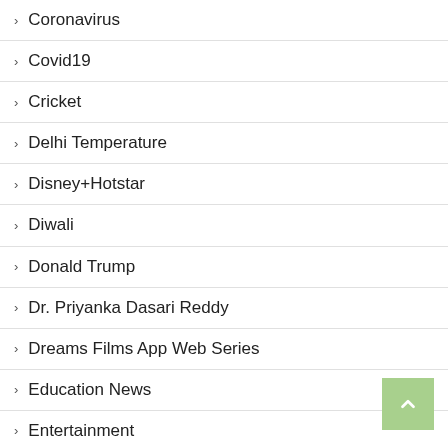Coronavirus
Covid19
Cricket
Delhi Temperature
Disney+Hotstar
Diwali
Donald Trump
Dr. Priyanka Dasari Reddy
Dreams Films App Web Series
Education News
Entertainment
Facebook
Festival
Flipkart